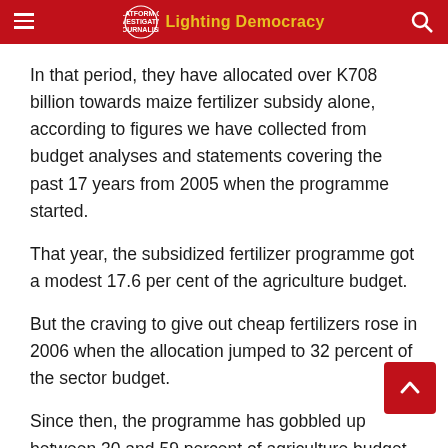Lighting Democracy
In that period, they have allocated over K708 billion towards maize fertilizer subsidy alone, according to figures we have collected from budget analyses and statements covering the past 17 years from 2005 when the programme started.
That year, the subsidized fertilizer programme got a modest 17.6 per cent of the agriculture budget.
But the craving to give out cheap fertilizers rose in 2006 when the allocation jumped to 32 percent of the sector budget.
Since then, the programme has gobbled up between 30 and 59 percent of agriculture budget in over of the 17 years.
This has effectively condemned all the ministry's